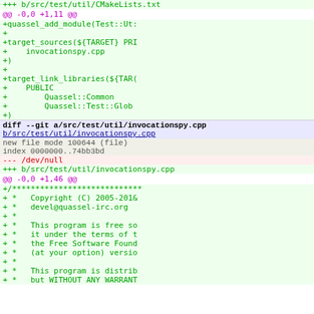+++ b/src/test/util/CMakeLists.txt (partial, top cut off)
@@ -0,0 +1,11 @@
+quassel_add_module(Test::Ut:
++
+target_sources(${TARGET} PRI
+    invocationspy.cpp
++)
++
+target_link_libraries(${TARG
+    PUBLIC
+        Quassel::Common
+        Quassel::Test::Glob
++)
diff --git a/src/test/util/invocationspy.cpp b/src/test/util/invocationspy.cpp
new file mode 100644 (file)
index 0000000..74bb3bd
--- /dev/null
+++ b/src/test/util/invocationspy.cpp
@@ -0,0 +1,46 @@
+/****************************
+ *   Copyright (C) 2005-2018
+ *   devel@quassel-irc.org
+ *
+ *   This program is free so
+ *   it under the terms of t
+ *   the Free Software Found
+ *   (at your option) versio
+ *
+ *   This program is distrib
+ *   but WITHOUT ANY WARRANT